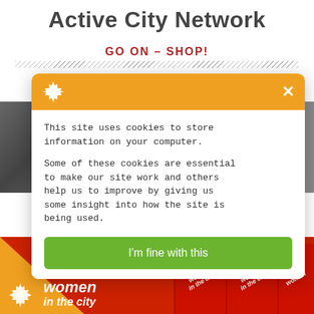Active City Network
GO ON – SHOP!
[Figure (screenshot): Cookie consent popup overlay on a website. Orange header bar with gear/cookie icon and X close button. White body with two paragraphs of text about cookie usage. Green 'I'm fine with this' button at bottom.]
This site uses cookies to store information on your computer.
Some of these cookies are essential to make our site work and others help us to improve by giving us some insight into how the site is being used.
I'm fine with this
[Figure (photo): Background photo strip showing people networking/socializing. Left side: people in dark indoor setting. Right side: women smiling and socializing.]
[Figure (logo): Twitter bird logo in white on black circle background]
[Figure (logo): Women in the City branding - orange triangle with gear icon, italic text 'women in the city' in white on red background, with repeated 'women in the city' banner ribbons on right]